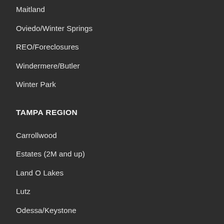Maitland
Oviedo/Winter Springs
REO/Foreclosures
Windermere/Butler
Winter Park
TAMPA REGION
Carrollwood
Estates (2M and up)
Land O Lakes
Lutz
Odessa/Keystone
REO/Foreclosures
ADVERTISERS